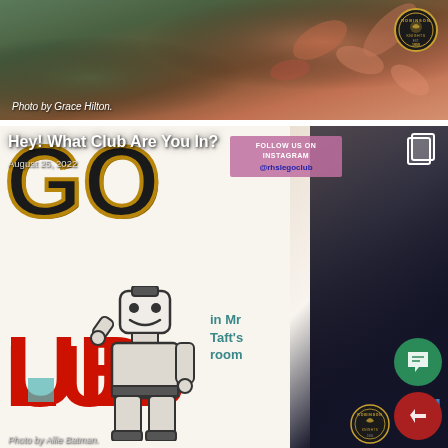[Figure (photo): Top photo strip showing a colorful event or celebration photo with floral/decorative elements. Photo credit to Grace Hilton. Robinson school logo badge in top right corner.]
Photo by Grace Hilton.
[Figure (photo): Main photo showing a student standing next to a Lego Club sign/poster. The poster shows large GO text with gold outline, UB text in red, a drawn Lego figure waving, and text saying 'Follow us on Instagram @rhslegoclub' and 'in Mr Taft's room'. Student appears to be a young woman in a blue shirt, shown in profile.]
Hey! What Club Are You In?
August 25, 2022
Photo by Allie Batman.